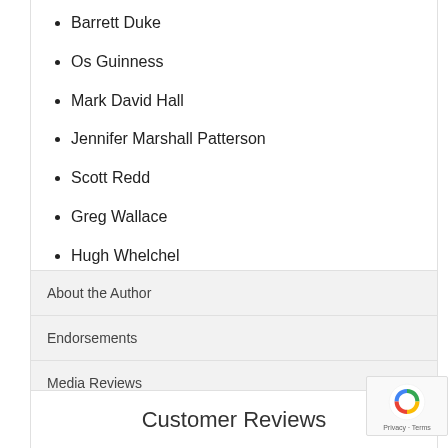Barrett Duke
Os Guinness
Mark David Hall
Jennifer Marshall Patterson
Scott Redd
Greg Wallace
Hugh Whelchel
About the Author
Endorsements
Media Reviews
Specifications
Customer Reviews